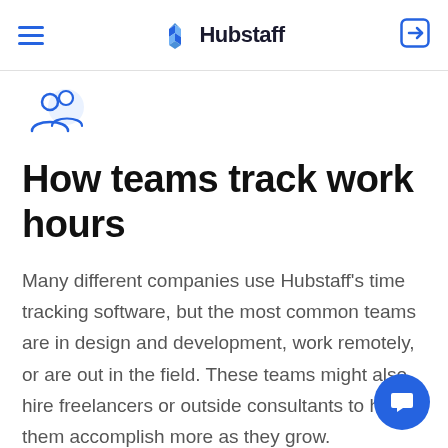Hubstaff
[Figure (illustration): Two people / team icon in blue outline style]
How teams track work hours
Many different companies use Hubstaff's time tracking software, but the most common teams are in design and development, work remotely, or are out in the field. These teams might also hire freelancers or outside consultants to help them accomplish more as they grow.